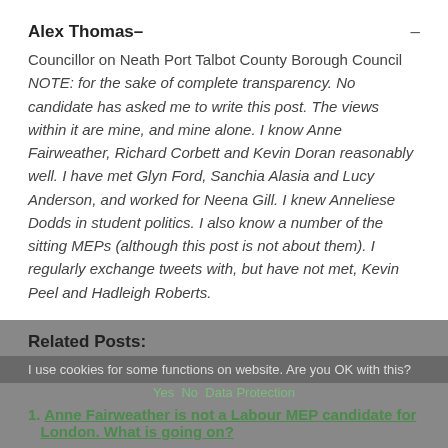Alex Thomas–
Councillor on Neath Port Talbot County Borough Council NOTE: for the sake of complete transparency. No candidate has asked me to write this post. The views within it are mine, and mine alone. I know Anne Fairweather, Richard Corbett and Kevin Doran reasonably well. I have met Glyn Ford, Sanchia Alasia and Lucy Anderson, and worked for Neena Gill. I knew Anneliese Dodds in student politics. I also know a number of the sitting MEPs (although this post is not about them). I regularly exchange tweets with, but have not met, Kevin Peel and Hadleigh Roberts.
Related Posts:
I use cookies for some functions on website. Are you OK with this?
Yes   No   Data Protection
1. Anne Fairweather is not a Labour MEP candidate for London. What is going on?